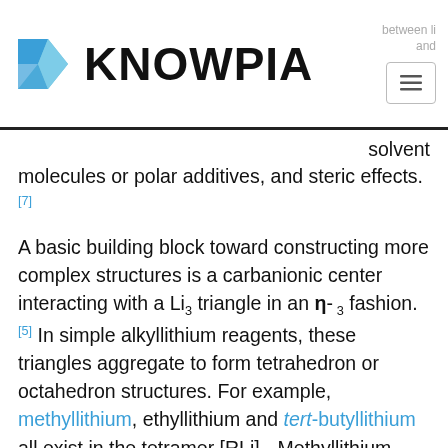KNOWPIA
solvent molecules or polar additives, and steric effects.[7]
A basic building block toward constructing more complex structures is a carbanionic center interacting with a Li3 triangle in an η-3 fashion.[5] In simple alkyllithium reagents, these triangles aggregate to form tetrahedron or octahedron structures. For example, methyllithium, ethyllithium and tert-butyllithium all exist in the tetramer [RLi]4. Methyllithium exists as tetramers in a cubane-type cluster in the solid state, with four lithium centers forming a tetrahedron. Each methanide in the tetramer in methyllithium can have agostic interaction with lithium cations in adjacent tetramers.[5][7] Ethyllithium and tert-butyllithium, on the